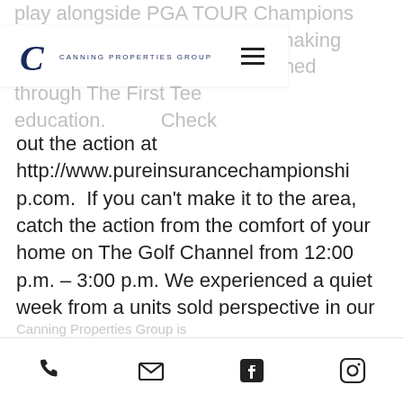play alongside PGA TOUR Champions players and display their shot-making skills and the skills they've learned through The First Tee education. Check out the action at http://www.pureinsurancechampionship.com. If you can't make it to the area, catch the action from the comfort of your home on The Golf Channel from 12:00 p.m. – 3:00 p.m. We experienced a quiet week from a units sold perspective in our local markets this week (4 closings) but remained productive reporting 10 new sales. As always, below please find a recap from the week.
[Figure (logo): Canning Properties Group logo with stylized C and company name]
Canning Properties Group is...
Phone | Email | Facebook | Instagram icons